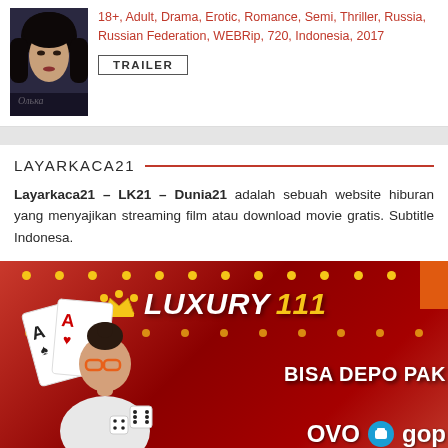18+, Adult, Drama, Erotic, Romance, Semi, Thriller, Russia, Russian Federation, WEBRip, 720, Indonesia, 2017
TRAILER
LAYARKACA21
Layarkaca21 – LK21 – Dunia21 adalah sebuah website hiburan yang menyajikan streaming film atau download movie gratis. Subtitle Indonesa.
[Figure (photo): Advertisement banner for Luxury111 gambling/casino site with a girl holding playing cards, dice, and text 'BISA DEPO PAK OVO GOPA' on a red background]